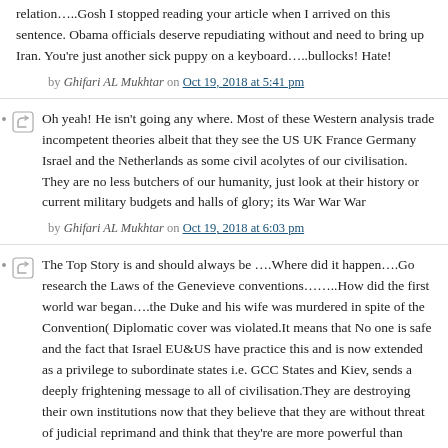relation…..Gosh I stopped reading your article when I arrived on this sentence. Obama officials deserve repudiating without and need to bring up Iran. You're just another sick puppy on a keyboard…..bullocks! Hate!
by Ghifari AL Mukhtar on Oct 19, 2018 at 5:41 pm
Oh yeah! He isn't going any where. Most of these Western analysis trade incompetent theories albeit that they see the US UK France Germany Israel and the Netherlands as some civil acolytes of our civilisation. They are no less butchers of our humanity, just look at their history or current military budgets and halls of glory; its War War War
by Ghifari AL Mukhtar on Oct 19, 2018 at 6:03 pm
The Top Story is and should always be ….Where did it happen….Go research the Laws of the Genevieve conventions……..How did the first world war began….the Duke and his wife was murdered in spite of the Convention( Diplomatic cover was violated.It means that No one is safe and the fact that Israel EU&US have practice this and is now extended as a privilege to subordinate states i.e. GCC States and Kiev, sends a deeply frightening message to all of civilisation.They are destroying their own institutions now that they believe that they are without threat of judicial reprimand and think that they're are more powerful than God/Allah.
by Ghifari AL Mukhtar on Oct 19, 2018 at 8:01 pm
Let them rabid dogs bite each other, that's my view. Fascinating to see, but only if you're behind the glass and five iron barriers.